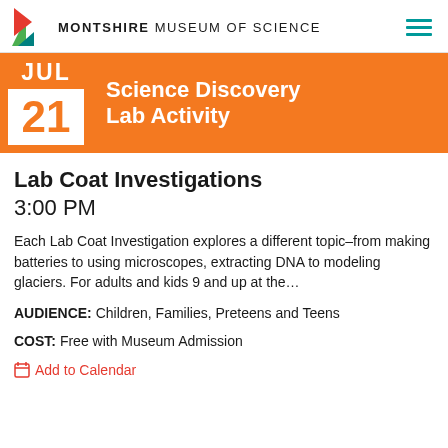MONTSHIRE MUSEUM OF SCIENCE
[Figure (infographic): Calendar icon showing JUL 21 with orange background and orange text label 'Science Discovery Lab Activity']
Lab Coat Investigations
3:00 PM
Each Lab Coat Investigation explores a different topic–from making batteries to using microscopes, extracting DNA to modeling glaciers. For adults and kids 9 and up at the…
AUDIENCE: Children, Families, Preteens and Teens
COST: Free with Museum Admission
Add to Calendar